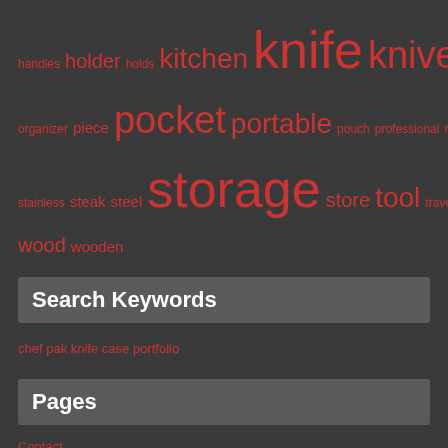handles holder holds kitchen knife knives large leather organizer piece pocket portable pouch professional rare roll sale stainless steak steel storage store tool travel vintage wood wooden
Search Keywords
chef pak knife case portfolio
Pages
Contact
Privacy Policy
Terms of Use